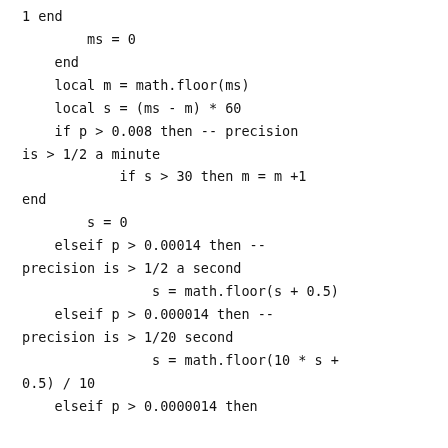1 end
        ms = 0
    end
    local m = math.floor(ms)
    local s = (ms - m) * 60
    if p > 0.008 then -- precision is > 1/2 a minute
            if s > 30 then m = m +1
    end
        s = 0
    elseif p > 0.00014 then -- precision is > 1/2 a second
                s = math.floor(s + 0.5)
    elseif p > 0.000014 then -- precision is > 1/20 second
                s = math.floor(10 * s + 0.5) / 10
    elseif p > 0.0000014 then